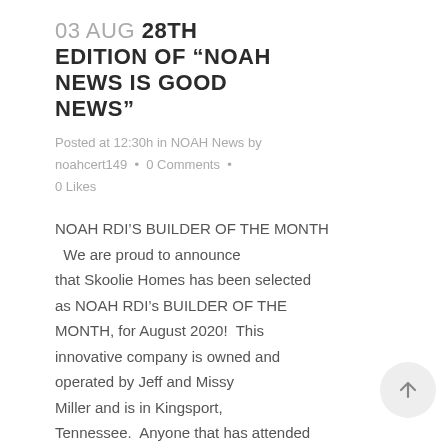03 AUG 28TH EDITION OF “NOAH NEWS IS GOOD NEWS”
Posted at 12:30h in NOAH News by noahcert149 • 0 Comments • 0 Likes
NOAH RDI’S BUILDER OF THE MONTH   We are proud to announce that Skoolie Homes has been selected as NOAH RDI’s BUILDER OF THE MONTH, for August 2020!  This innovative company is owned and operated by Jeff and Missy Miller and is in Kingsport, Tennessee.  Anyone that has attended